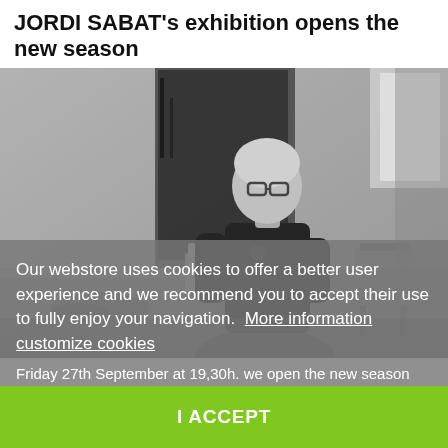JORDI SABAT's exhibition opens the new season
[Figure (photo): Black and white photo of a bald man wearing glasses and a dark polo shirt, standing in an art studio with paintings, bottles, and art supplies around him.]
Our webstore uses cookies to offer a better user experience and we recommend you to accept their use to fully enjoy your navigation.  More information  customize cookies
Friday 27th September at 19,30h. we open the new season with the exhibition of Jordi SÀBAT.  Ce n'est pas u...
I ACCEPT